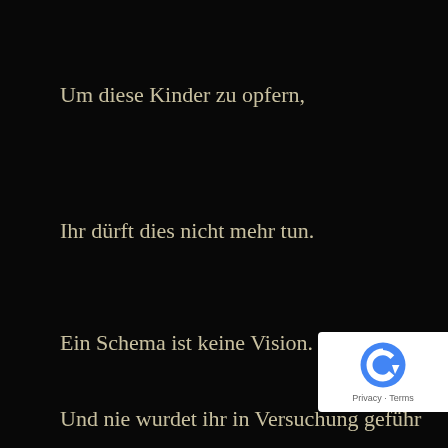Um diese Kinder zu opfern,
Ihr dürft dies nicht mehr tun.
Ein Schema ist keine Vision.
Und nie wurdet ihr in Versuchung geführ…